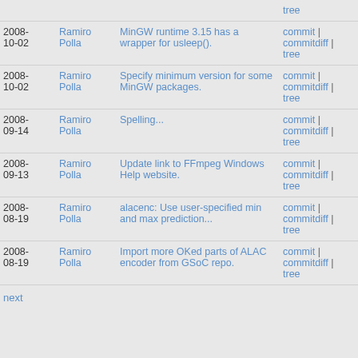| Date | Author | Message | Links |
| --- | --- | --- | --- |
|  |  | tree |  |
| 2008-10-02 | Ramiro Polla | MinGW runtime 3.15 has a wrapper for usleep(). | commit | commitdiff | tree |
| 2008-10-02 | Ramiro Polla | Specify minimum version for some MinGW packages. | commit | commitdiff | tree |
| 2008-09-14 | Ramiro Polla | Spelling... | commit | commitdiff | tree |
| 2008-09-13 | Ramiro Polla | Update link to FFmpeg Windows Help website. | commit | commitdiff | tree |
| 2008-08-19 | Ramiro Polla | alacenc: Use user-specified min and max prediction... | commit | commitdiff | tree |
| 2008-08-19 | Ramiro Polla | Import more OKed parts of ALAC encoder from GSoC repo. | commit | commitdiff | tree |
next